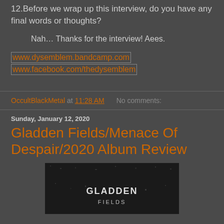Epitaphe from France blew me away.
12.Before we wrap up this interview, do you have any final words or thoughts?
Nah… Thanks for the interview! Aees.
www.dysemblem.bandcamp.com
www.facebook.com/thedysemblem
OccultBlackMetal at 11:28 AM   No comments:
Sunday, January 12, 2020
Gladden Fields/Menace Of Despair/2020 Album Review
[Figure (photo): Album cover image for Gladden Fields Menace Of Despair, dark grainy black and white image with band logo text]